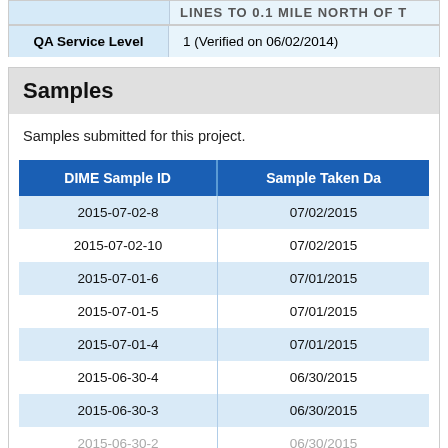| QA Service Level |  |
| --- | --- |
| QA Service Level | 1 (Verified on 06/02/2014) |
Samples
Samples submitted for this project.
| DIME Sample ID | Sample Taken Da... |
| --- | --- |
| 2015-07-02-8 | 07/02/2015 |
| 2015-07-02-10 | 07/02/2015 |
| 2015-07-01-6 | 07/01/2015 |
| 2015-07-01-5 | 07/01/2015 |
| 2015-07-01-4 | 07/01/2015 |
| 2015-06-30-4 | 06/30/2015 |
| 2015-06-30-3 | 06/30/2015 |
| 2015-06-30-? | 06/30/2015 |